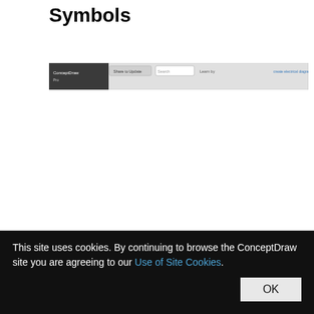Symbols
[Figure (screenshot): A screenshot of the ConceptDraw application toolbar/interface bar showing menu items and search box]
How to create Electrical Diagram? It's very
This site uses cookies. By continuing to browse the ConceptDraw site you are agreeing to our Use of Site Cookies.
OK